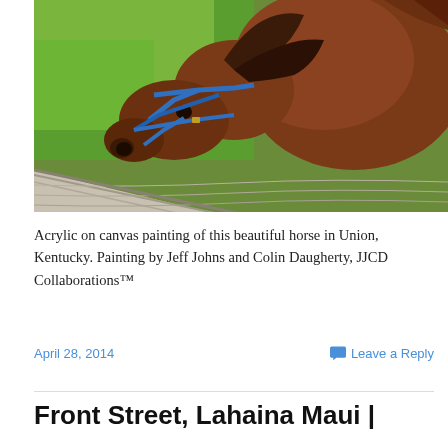[Figure (illustration): Acrylic painting of a brown horse with a blue halter, head lowered near a wooden fence, with green grass in the background.]
Acrylic on canvas painting of this beautiful horse in Union, Kentucky. Painting by Jeff Johns and Colin Daugherty, JJCD Collaborations™
April 28, 2014
Leave a Reply
Front Street, Lahaina Maui |